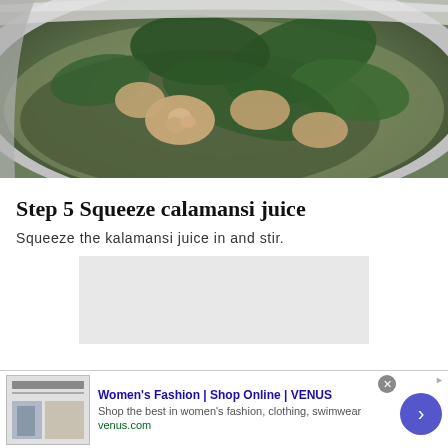[Figure (photo): Close-up photo of a bowl of soup with chicken pieces, leafy green herbs/vegetables, and broth in a metal bowl]
Step 5 Squeeze calamansi juice
Squeeze the kalamansi juice in and stir.
[Figure (other): Gray placeholder rectangle for an image]
Women's Fashion | Shop Online | VENUS
Shop the best in women's fashion, clothing, swimwear
venus.com